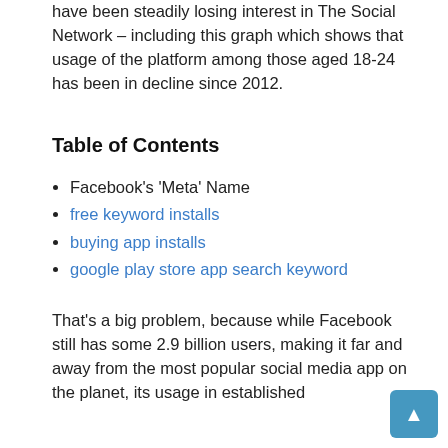have been steadily losing interest in The Social Network – including this graph which shows that usage of the platform among those aged 18-24 has been in decline since 2012.
Table of Contents
Facebook's 'Meta' Name
free keyword installs
buying app installs
google play store app search keyword
That's a big problem, because while Facebook still has some 2.9 billion users, making it far and away from the most popular social media app on the planet, its usage in established